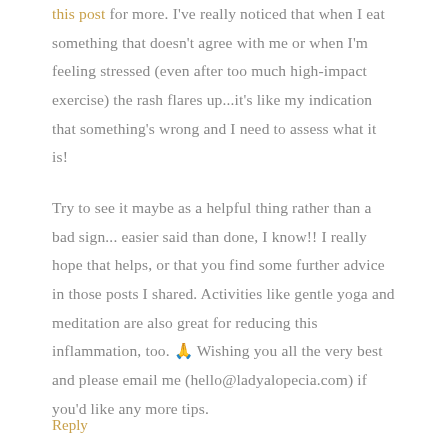this post for more. I've really noticed that when I eat something that doesn't agree with me or when I'm feeling stressed (even after too much high-impact exercise) the rash flares up...it's like my indication that something's wrong and I need to assess what it is!
Try to see it maybe as a helpful thing rather than a bad sign... easier said than done, I know!! I really hope that helps, or that you find some further advice in those posts I shared. Activities like gentle yoga and meditation are also great for reducing this inflammation, too. 🙏 Wishing you all the very best and please email me (hello@ladyalopecia.com) if you'd like any more tips.
Reply